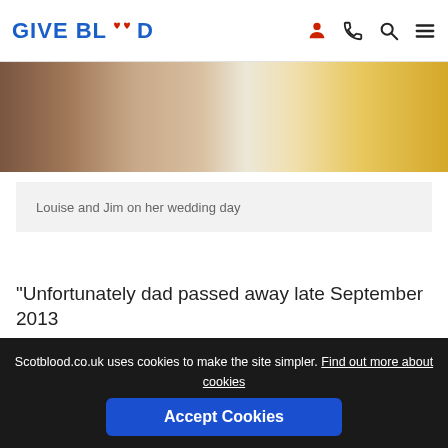GIVE BLOOD
[Figure (photo): Partial photo of a wedding scene, showing table decoration with warm golden and brown tones]
Louise and Jim on her wedding day
"Unfortunately dad passed away late September 2013
Scotblood.co.uk uses cookies to make the site simpler. Find out more about cookies
Accept Cookies